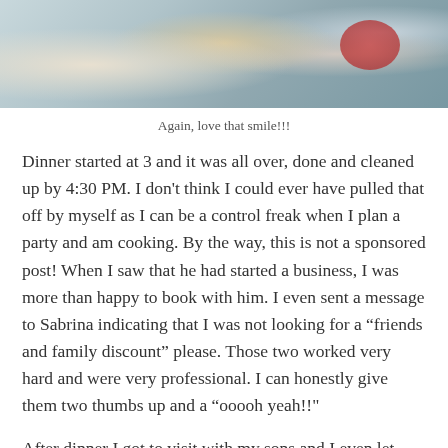[Figure (photo): Photo of people at an outdoor dinner table with food, drinks including a red cup, and plates of food visible.]
Again, love that smile!!!
Dinner started at 3 and it was all over, done and cleaned up by 4:30 PM. I don't think I could ever have pulled that off by myself as I can be a control freak when I plan a party and am cooking. By the way, this is not a sponsored post! When I saw that he had started a business, I was more than happy to book with him. I even sent a message to Sabrina indicating that I was not looking for a “friends and family discount” please. Those two worked very hard and were very professional. I can honestly give them two thumbs up and a “ooooh yeah!!"
After dinner I got to visit with my sons and I even let